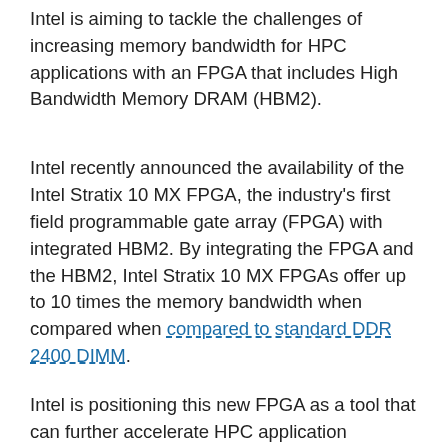Intel is aiming to tackle the challenges of increasing memory bandwidth for HPC applications with an FPGA that includes High Bandwidth Memory DRAM (HBM2).
Intel recently announced the availability of the Intel Stratix 10 MX FPGA, the industry's first field programmable gate array (FPGA) with integrated HBM2. By integrating the FPGA and the HBM2, Intel Stratix 10 MX FPGAs offer up to 10 times the memory bandwidth when compared when compared to standard DDR 2400 DIMM.
Intel is positioning this new FPGA as a tool that can further accelerate HPC application performance by keeping pace with the memory bandwidth demands seen in many of today's HPC clusters. In HPC environments, the ability to compress and decompress data before or after mass data movements is paramount. HBM2-based FPGAs can compress and accelerate larger data movements compared with stand-alone FPGAs.